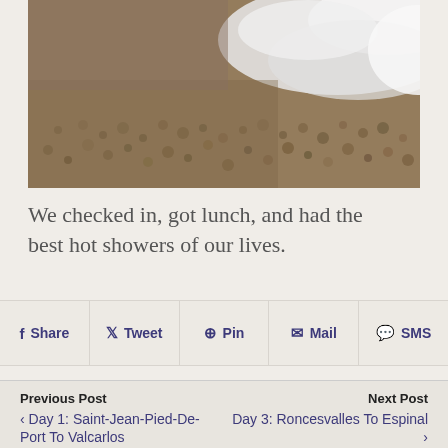[Figure (photo): Close-up photograph of a pebbly rocky beach with white seafoam/waves in the upper right portion]
We checked in, got lunch, and had the best hot showers of our lives.
Share  Tweet  Pin  Mail  SMS
Previous Post
‹ Day 1: Saint-Jean-Pied-De-Port To Valcarlos
Next Post
Day 3: Roncesvalles To Espinal ›
3 responses